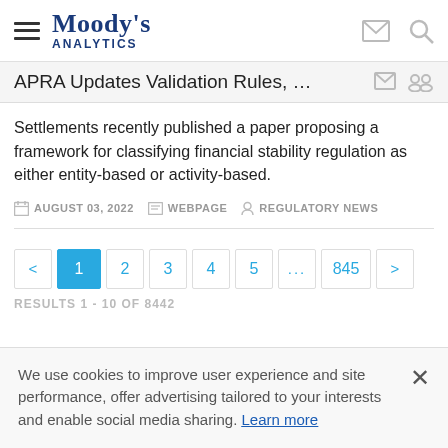Moody's Analytics
APRA Updates Validation Rules, Deems U...
Settlements recently published a paper proposing a framework for classifying financial stability regulation as either entity-based or activity-based.
AUGUST 03, 2022   WEBPAGE   REGULATORY NEWS
< 1 2 3 4 5 ... 845 >
RESULTS 1 - 10 OF 8442
We use cookies to improve user experience and site performance, offer advertising tailored to your interests and enable social media sharing. Learn more